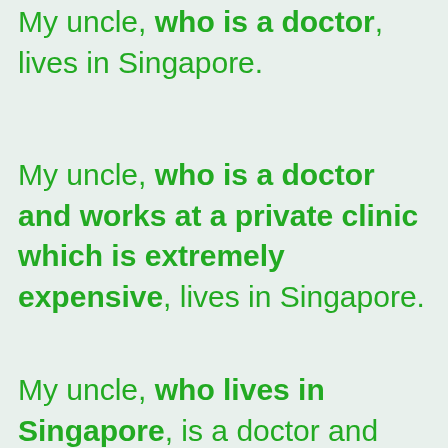My uncle, who is a doctor, lives in Singapore.
My uncle, who is a doctor and works at a private clinic which is extremely expensive, lives in Singapore.
My uncle, who lives in Singapore, is a doctor and